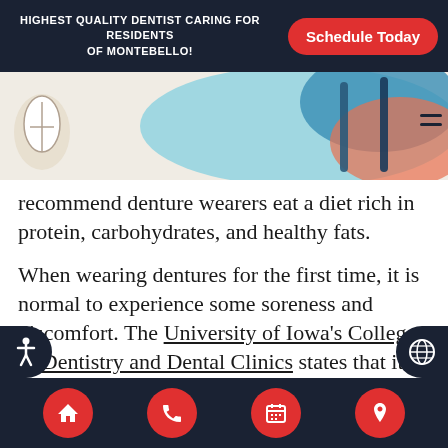HIGHEST QUALITY DENTIST CARING FOR RESIDENTS OF MONTEBELLO!
[Figure (screenshot): Dental clinic banner with logo for Dr. David Hakham, Dentist in Montebello. Esthetic & Biomimetic Dentistry, Implants & Orthodontics. Decorative background with teal and orange swirls.]
recommend denture wearers eat a diet rich in protein, carbohydrates, and healthy fats.
When wearing dentures for the first time, it is normal to experience some soreness and discomfort. The University of Iowa's College of Dentistry and Dental Clinics states that it is not unusual for dentures to be relined or remade within six to eight weeks after